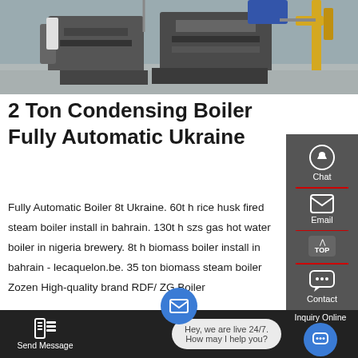[Figure (photo): Industrial boiler equipment photograph showing large metal boiler units in a facility, with yellow piping visible in background]
2 Ton Condensing Boiler Fully Automatic Ukraine
Fully Automatic Boiler 8t Ukraine. 60t h rice husk fired steam boiler install in bahrain. 130t h szs gas hot water boiler in nigeria brewery. 8t h biomass boiler install in bahrain - lecaquelon.be. 35 ton biomass steam boiler Zozen High-quality brand RDF/ ZG Boiler
Get a quote
Send Message
Hey, we are live 24/7. How may I help you?
Inquiry Online